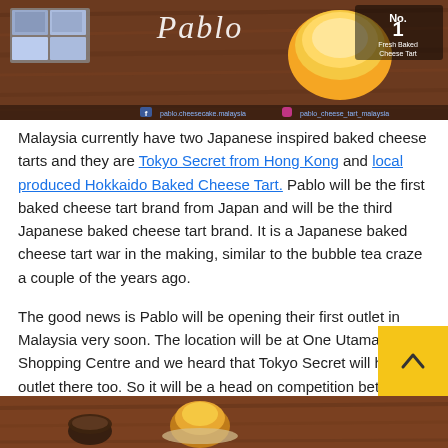[Figure (photo): Pablo cheese tart promotional image showing food on wooden table with 'No. 1 Fresh Baked Cheese Tart From Japan' text and logo]
Malaysia currently have two Japanese inspired baked cheese tarts and they are Tokyo Secret from Hong Kong and local produced Hokkaido Baked Cheese Tart. Pablo will be the first baked cheese tart brand from Japan and will be the third Japanese baked cheese tart brand. It is a Japanese baked cheese tart war in the making, similar to the bubble tea craze a couple of the years ago.
The good news is Pablo will be opening their first outlet in Malaysia very soon. The location will be at One Utama Shopping Centre and we heard that Tokyo Secret will have an outlet there too. So it will be a head on competition between Pablo and Tokyo Secret in One Utama Shopping Centre.
[Figure (photo): Food photo at bottom of page showing cheese tart items on wooden table]